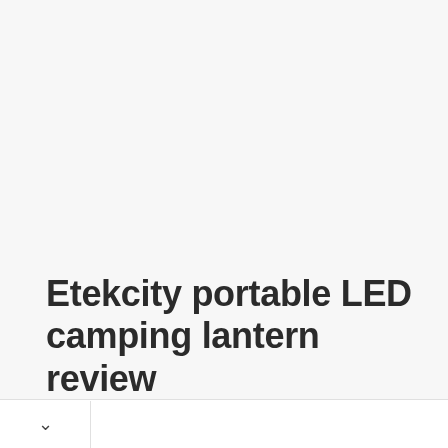Etekcity portable LED camping lantern review